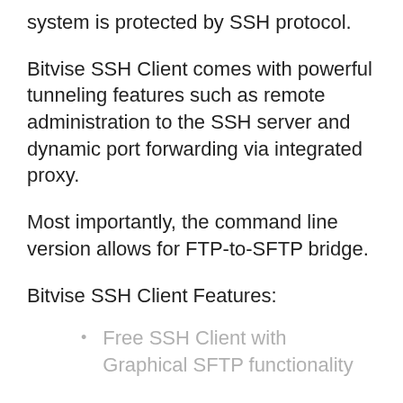system is protected by SSH protocol.
Bitvise SSH Client comes with powerful tunneling features such as remote administration to the SSH server and dynamic port forwarding via integrated proxy.
Most importantly, the command line version allows for FTP-to-SFTP bridge.
Bitvise SSH Client Features:
Free SSH Client with Graphical SFTP functionality